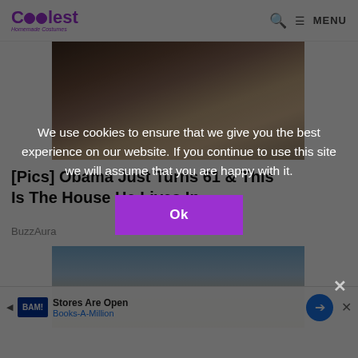Coolest Homemade Costumes — MENU
[Figure (photo): Family photo showing three people smiling — a woman with hoop earrings, a younger woman in a black top, and a man in a plaid shirt]
[Pics] Obama Just Turns 61 & This Is The House He Lives In
BuzzAura
[Figure (photo): Exterior photo of a house with a blue sky background, partially obscured by an advertisement overlay]
We use cookies to ensure that we give you the best experience on our website. If you continue to use this site we will assume that you are happy with it.
Ok